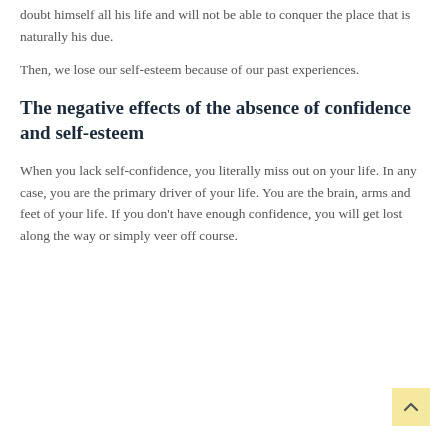doubt himself all his life and will not be able to conquer the place that is naturally his due.
Then, we lose our self-esteem because of our past experiences.
The negative effects of the absence of confidence and self-esteem
When you lack self-confidence, you literally miss out on your life. In any case, you are the primary driver of your life. You are the brain, arms and feet of your life. If you don't have enough confidence, you will get lost along the way or simply veer off course.